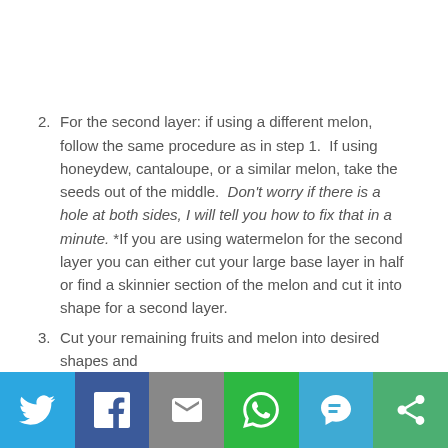2. For the second layer: if using a different melon, follow the same procedure as in step 1.  If using honeydew, cantaloupe, or a similar melon, take the seeds out of the middle.  Don't worry if there is a hole at both sides, I will tell you how to fix that in a minute. *If you are using watermelon for the second layer you can either cut your large base layer in half or find a skinnier section of the melon and cut it into shape for a second layer.
3. Cut your remaining fruits and melon into desired shapes and